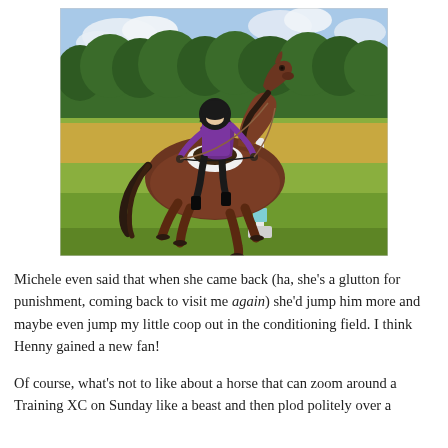[Figure (photo): A rider in a purple top and black riding helmet on a bay horse jumping a cross-country fence (white post) in a grassy field with trees in the background.]
Michele even said that when she came back (ha, she's a glutton for punishment, coming back to visit me again) she'd jump him more and maybe even jump my little coop out in the conditioning field. I think Henny gained a new fan!
Of course, what's not to like about a horse that can zoom around a Training XC on Sunday like a beast and then plod politely over a